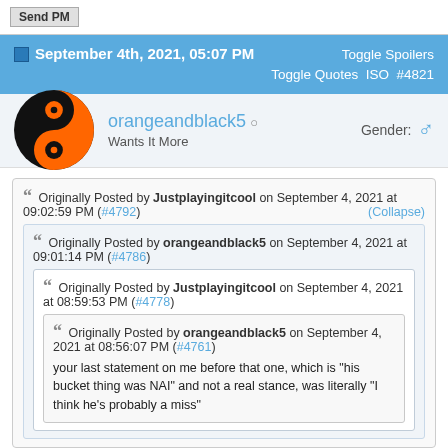Send PM
September 4th, 2021, 05:07 PM | Toggle Spoilers Toggle Quotes ISO #4821
orangeandblack5 | Wants It More | Gender: ♂
Originally Posted by Justplayingitcool on September 4, 2021 at 09:02:59 PM (#4792) (Collapse)
  Originally Posted by orangeandblack5 on September 4, 2021 at 09:01:14 PM (#4786)
    Originally Posted by Justplayingitcool on September 4, 2021 at 08:59:53 PM (#4778)
      Originally Posted by orangeandblack5 on September 4, 2021 at 08:56:07 PM (#4761)
      your last statement on me before that one, which is "his bucket thing was NAI" and not a real stance, was literally "I think he's probably a miss"